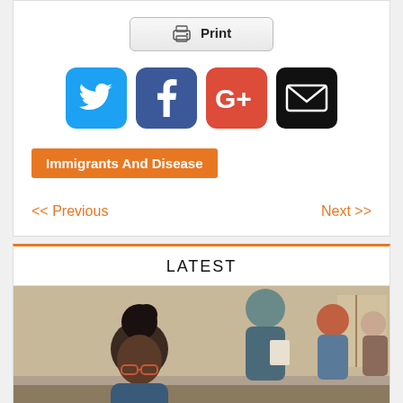[Figure (other): Print button with printer icon]
[Figure (other): Social media share icons: Twitter (blue bird), Facebook (blue f), Google+ (red/orange G+), Email (black envelope)]
Immigrants And Disease
<< Previous
Next >>
LATEST
[Figure (photo): Photo of diverse students in a classroom setting, including a Black woman with glasses in the foreground, and other students and an instructor in the background]